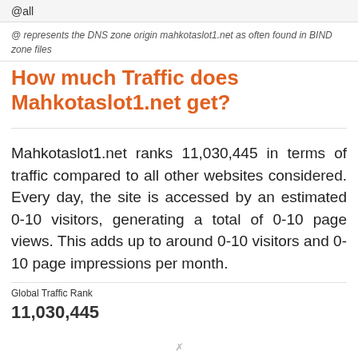@all
@ represents the DNS zone origin mahkotaslot1.net as often found in BIND zone files
How much Traffic does Mahkotaslot1.net get?
Mahkotaslot1.net ranks 11,030,445 in terms of traffic compared to all other websites considered. Every day, the site is accessed by an estimated 0-10 visitors, generating a total of 0-10 page views. This adds up to around 0-10 visitors and 0-10 page impressions per month.
Global Traffic Rank
11,030,445